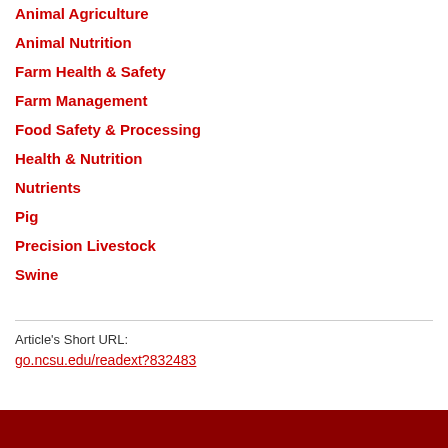Animal Agriculture
Animal Nutrition
Farm Health & Safety
Farm Management
Food Safety & Processing
Health & Nutrition
Nutrients
Pig
Precision Livestock
Swine
Article's Short URL:
go.ncsu.edu/readext?832483